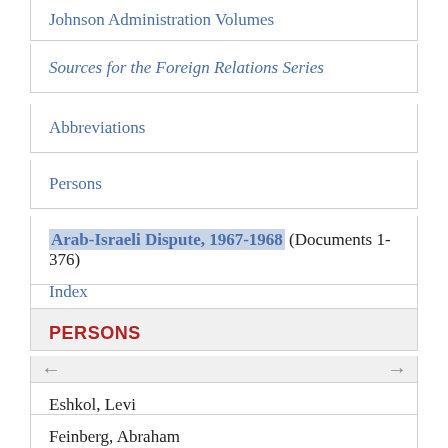Johnson Administration Volumes
Sources for the Foreign Relations Series
Abbreviations
Persons
Arab-Israeli Dispute, 1967-1968 (Documents 1-376)
Index
PERSONS
Eshkol, Levi
Feinberg, Abraham
Nasser, Gamal Abdel